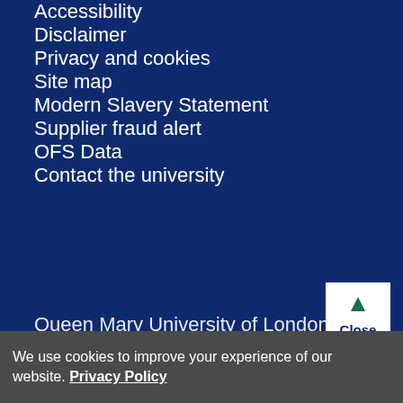Accessibility
Disclaimer
Privacy and cookies
Site map
Modern Slavery Statement
Supplier fraud alert
OFS Data
Contact the university
Queen Mary University of London
We use cookies to improve your experience of our website. Privacy Policy